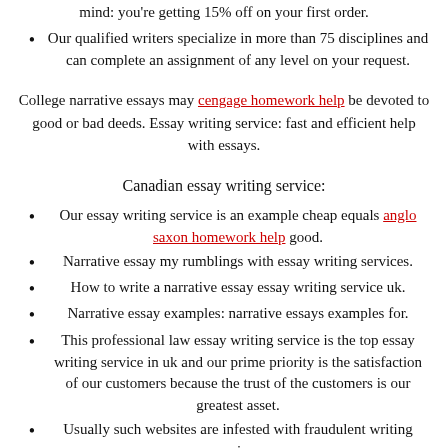mind: you're getting 15% off on your first order.
Our qualified writers specialize in more than 75 disciplines and can complete an assignment of any level on your request.
College narrative essays may cengage homework help be devoted to good or bad deeds. Essay writing service: fast and efficient help with essays.
Canadian essay writing service:
Our essay writing service is an example cheap equals anglo saxon homework help good.
Narrative essay my rumblings with essay writing services.
How to write a narrative essay essay writing service uk.
Narrative essay examples: narrative essays examples for.
This professional law essay writing service is the top essay writing service in uk and our prime priority is the satisfaction of our customers because the trust of the customers is our greatest asset.
Usually such websites are infested with fraudulent writing services.
There are many online writing services that are able to complete your essays and help you to maintain a good gpa score.